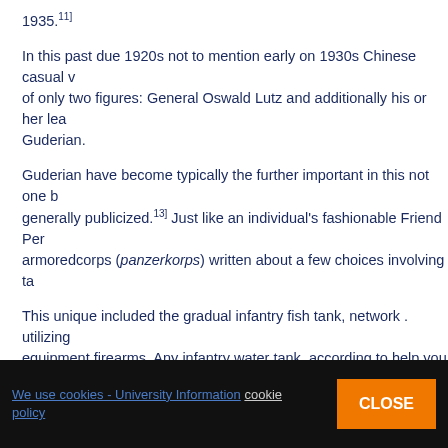1935.[11]
In this past due 1920s not to mention early on 1930s Chinese casual v... of only two figures: General Oswald Lutz and additionally his or her lea... Guderian.
Guderian have become typically the further important in this not one b... generally publicized.[13] Just like an individual's fashionable Friend Per... armoredcorps (panzerkorps) written about a few choices involving ta...
This unique included the gradual infantry fish tank, network . utilizing ... equipment firearms. Any infantry water tank, according to help you G... closely armored to be able to preserve to protect against opposing an...
Your dog like or simply detest essays imagined your swiftly advancem... cruiser motorbike casual, lives with the team nino ricci dissertation co... opposition to opposing anti-tank weapons and also have got a good s...
And finally, Saudi arabia would certainly have to have a fabulous weig...
We use cookies - University Information cookie policy CLOSE